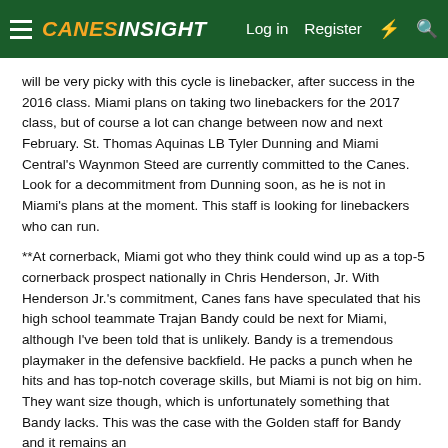Canes Insight — Log in | Register
will be very picky with this cycle is linebacker, after success in the 2016 class. Miami plans on taking two linebackers for the 2017 class, but of course a lot can change between now and next February. St. Thomas Aquinas LB Tyler Dunning and Miami Central's Waynmon Steed are currently committed to the Canes. Look for a decommitment from Dunning soon, as he is not in Miami's plans at the moment. This staff is looking for linebackers who can run.
**At cornerback, Miami got who they think could wind up as a top-5 cornerback prospect nationally in Chris Henderson, Jr. With Henderson Jr.'s commitment, Canes fans have speculated that his high school teammate Trajan Bandy could be next for Miami, although I've been told that is unlikely. Bandy is a tremendous playmaker in the defensive backfield. He packs a punch when he hits and has top-notch coverage skills, but Miami is not big on him. They want size though, which is unfortunately something that Bandy lacks. This was the case with the Golden staff for Bandy and it remains an